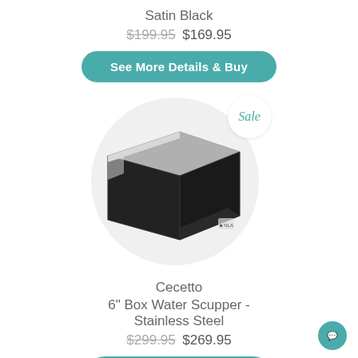Satin Black
$199.95 $169.95
See More Details & Buy
[Figure (photo): A silver and black 6 inch box water scupper product shown inside a circular frame with a Sale badge in the top right corner.]
Cecetto
6" Box Water Scupper - Stainless Steel
$299.95 $269.95
See More Details & Buy